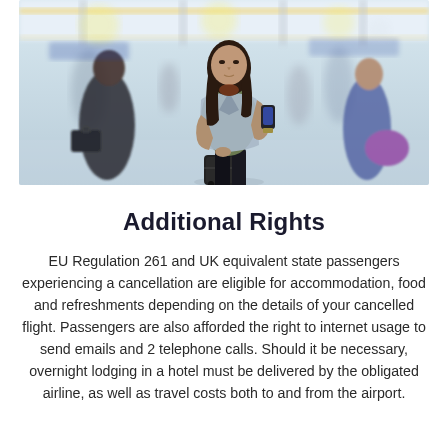[Figure (photo): A young woman with long dark hair talking on a phone while pulling a rolling suitcase in a busy airport terminal. Other travelers are visible in the background, including a man with a black briefcase and a person with a purple bag.]
Additional Rights
EU Regulation 261 and UK equivalent state passengers experiencing a cancellation are eligible for accommodation, food and refreshments depending on the details of your cancelled flight. Passengers are also afforded the right to internet usage to send emails and 2 telephone calls. Should it be necessary, overnight lodging in a hotel must be delivered by the obligated airline, as well as travel costs both to and from the airport.